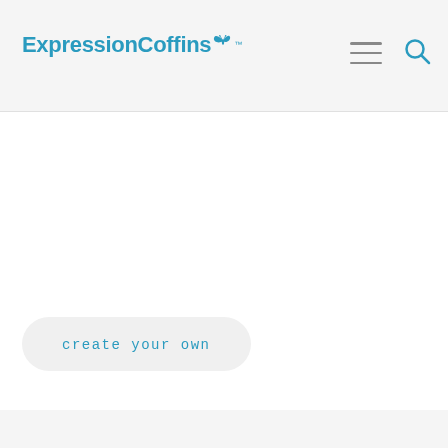ExpressionCoffins™
[Figure (logo): ExpressionCoffins logo with butterfly icon and navigation hamburger menu and search icon]
create your own